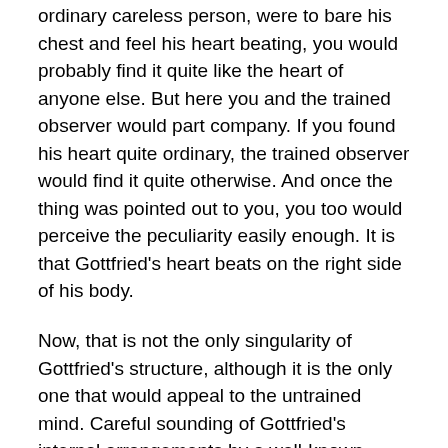ordinary careless person, were to bare his chest and feel his heart beating, you would probably find it quite like the heart of anyone else. But here you and the trained observer would part company. If you found his heart quite ordinary, the trained observer would find it quite otherwise. And once the thing was pointed out to you, you too would perceive the peculiarity easily enough. It is that Gottfried's heart beats on the right side of his body.
Now, that is not the only singularity of Gottfried's structure, although it is the only one that would appeal to the untrained mind. Careful sounding of Gottfried's internal arrangements by a well-known surgeon seems to point to the fact that all the other unsymmetrical parts of his body are similarly misplaced. The right lobe of his liver is on the left side, the left on his right; while his lungs, too, are similarly contraposed. What is still more singular, unless Gottfried is a consummate actor, we must believe that his